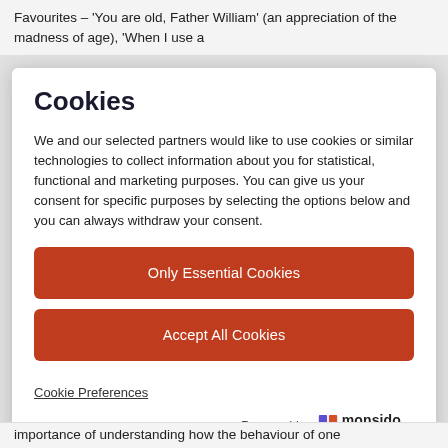Favourites – 'You are old, Father William' (an appreciation of the madness of age), 'When I use a
Cookies
We and our selected partners would like to use cookies or similar technologies to collect information about you for statistical, functional and marketing purposes. You can give us your consent for specific purposes by selecting the options below and you can always withdraw your consent.
Only Essential Cookies
Accept All Cookies
Cookie Preferences
Powered by monsido an Optimere brand
importance of understanding how the behaviour of one